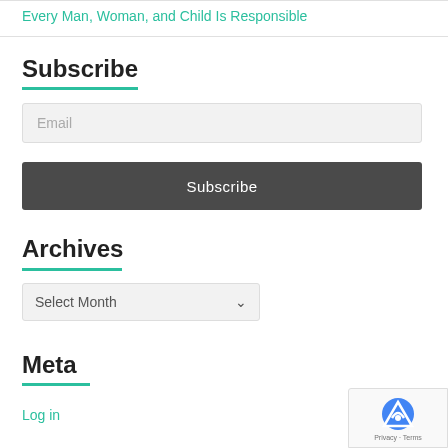Every Man, Woman, and Child Is Responsible
Subscribe
Email
Subscribe
Archives
Select Month
Meta
Log in